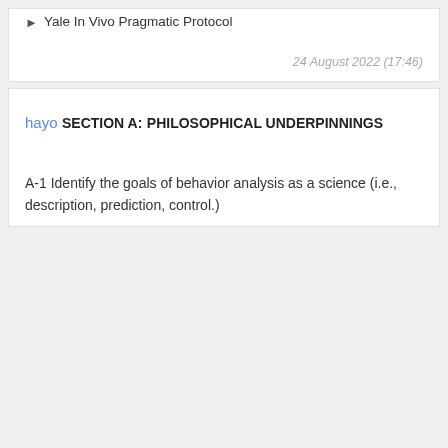Yale In Vivo Pragmatic Protocol
24 August 2022 (17:46)
hayo
SECTION A:
PHILOSOPHICAL UNDERPINNINGS
A-1 Identify the goals of behavior analysis as a science (i.e., description, prediction, control.)